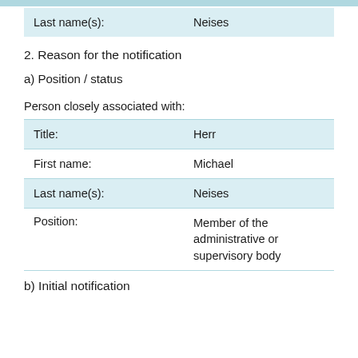| Field | Value |
| --- | --- |
| Last name(s): | Neises |
2. Reason for the notification
a) Position / status
Person closely associated with:
| Field | Value |
| --- | --- |
| Title: | Herr |
| First name: | Michael |
| Last name(s): | Neises |
| Position: | Member of the administrative or supervisory body |
b) Initial notification